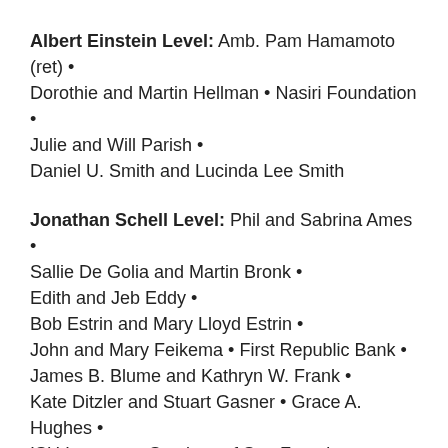Albert Einstein Level: Amb. Pam Hamamoto (ret) • Dorothie and Martin Hellman • Nasiri Foundation • Julie and Will Parish • Daniel U. Smith and Lucinda Lee Smith
Jonathan Schell Level: Phil and Sabrina Ames • Sallie De Golia and Martin Bronk • Edith and Jeb Eddy • Bob Estrin and Mary Lloyd Estrin • John and Mary Feikema • First Republic Bank • James B. Blume and Kathryn W. Frank • Kate Ditzler and Stuart Gasner • Grace A. Hughes • ISU Insurance Services of San Francisco • David and Anita Keller • Lisille and Henry Matheson • Robert E. Sims • Ramyne and Carry Spiro •